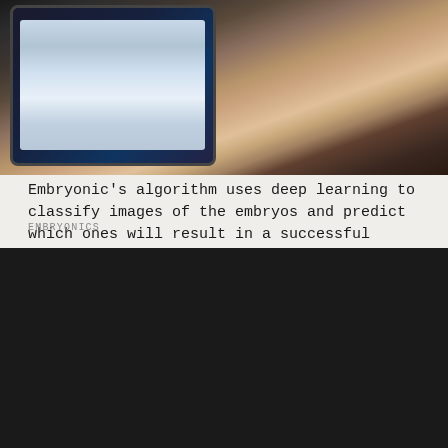[Figure (photo): Person holding a tablet/iPad showing a social media or web interface, resting on a wooden surface]
Embryonic’s algorithm uses deep learning to classify images of the embryos and predict which ones will result in a successful pregnancy.
EMBRYONICS
IEEE websites place cookies on your device to give you the best user experience. By using our websites, you agree to the placement of these cookies. To learn more, read our Privacy Policy.
ACCEPT & CLOSE
VIEW PRIVACY POLICY